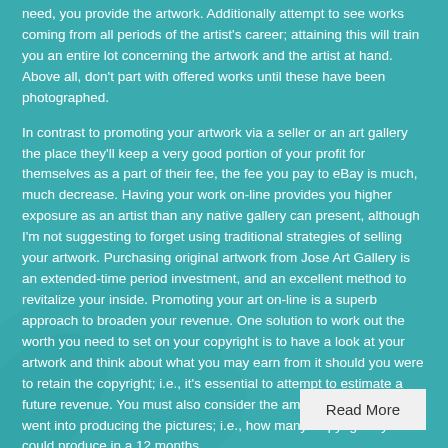need, you provide the artwork. Additionally attempt to see works coming from all periods of the artist's career; attaining this will train you an entire lot concerning the artwork and the artist at hand. Above all, don't part with offered works until these have been photographed.
In contrast to promoting your artwork via a seller or an art gallery the place they'll keep a very good portion of your profit for themselves as a part of their fee, the fee you pay to eBay is much, much decrease. Having your work on-line provides you higher exposure as an artist than any native gallery can present, although I'm not suggesting to forget using traditional strategies of selling your artwork. Purchasing original artwork from Jose Art Gallery is an extended-time period investment, and an excellent method to revitalize your inside. Promoting your art on-line is a superb approach to broaden your revenue. One solution to work out the worth you need to set on your copyright is to have a look at your artwork and think about what you may earn from it should you were to retain the copyright; i.e., it's essential to attempt to estimate a future revenue. You must also consider the amount of time that went into producing the pictures; i.e., how many 'copyrights' you could produce in a 12 months.
Read More